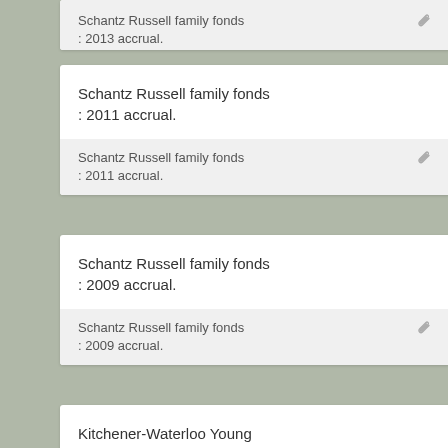Schantz Russell family fonds : 2013 accrual.
Schantz Russell family fonds : 2011 accrual.
Schantz Russell family fonds : 2011 accrual.
Schantz Russell family fonds : 2009 accrual.
Schantz Russell family fonds : 2009 accrual.
Kitchener-Waterloo Young Men's Christian Association fonds.